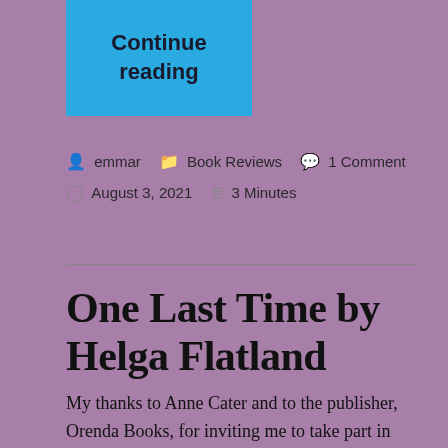[Figure (other): Blue 'Continue reading' button]
emmar   Book Reviews   1 Comment
August 3, 2021   3 Minutes
One Last Time by Helga Flatland
My thanks to Anne Cater and to the publisher, Orenda Books, for inviting me to take part in this blog tour. I received an ebook to read ahead of taking part, and this review forms my